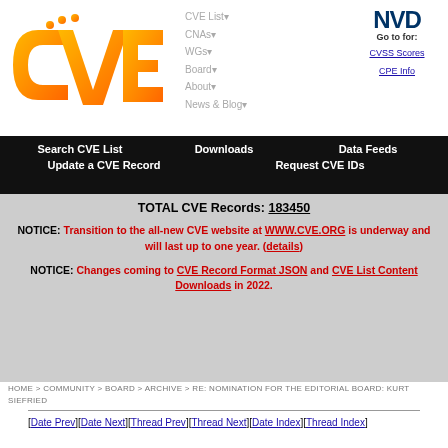[Figure (logo): CVE orange gradient logo]
CVE List▾  CNAs▾  WGs▾  Board▾  About▾  News & Blog▾
[Figure (logo): NVD logo with Go to for: CVSS Scores, CPE Info]
Search CVE List  Downloads  Data Feeds  Update a CVE Record  Request CVE IDs
TOTAL CVE Records: 183450

NOTICE: Transition to the all-new CVE website at WWW.CVE.ORG is underway and will last up to one year. (details)

NOTICE: Changes coming to CVE Record Format JSON and CVE List Content Downloads in 2022.
HOME > COMMUNITY > BOARD > ARCHIVE > RE: NOMINATION FOR THE EDITORIAL BOARD: KURT SIEFRIED
[Date Prev][Date Next][Thread Prev][Thread Next][Date Index][Thread Index]